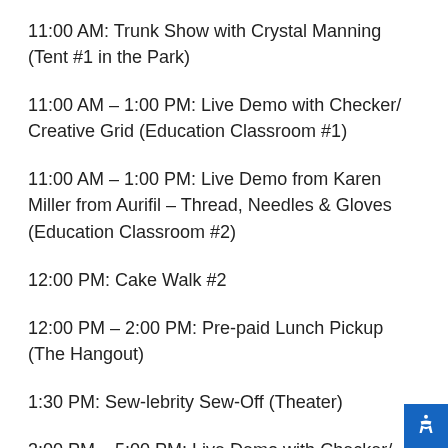11:00 AM: Trunk Show with Crystal Manning (Tent #1 in the Park)
11:00 AM – 1:00 PM: Live Demo with Checker/ Creative Grid (Education Classroom #1)
11:00 AM – 1:00 PM: Live Demo from Karen Miller from Aurifil – Thread, Needles & Gloves (Education Classroom #2)
12:00 PM: Cake Walk #2
12:00 PM – 2:00 PM: Pre-paid Lunch Pickup (The Hangout)
1:30 PM: Sew-lebrity Sew-Off (Theater)
3:00 PM – 5:00 PM: Live Demo with Checker/ Creative